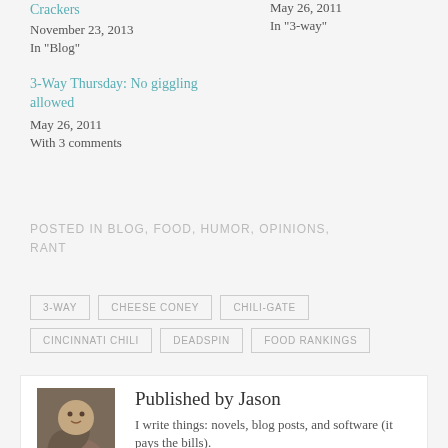Crackers
November 23, 2013
In "Blog"
May 26, 2011
In "3-way"
3-Way Thursday: No giggling allowed
May 26, 2011
With 3 comments
POSTED IN BLOG, FOOD, HUMOR, OPINIONS, RANT
3-WAY
CHEESE CONEY
CHILI-GATE
CINCINNATI CHILI
DEADSPIN
FOOD RANKINGS
Published by Jason
I write things: novels, blog posts, and software (it pays the bills).